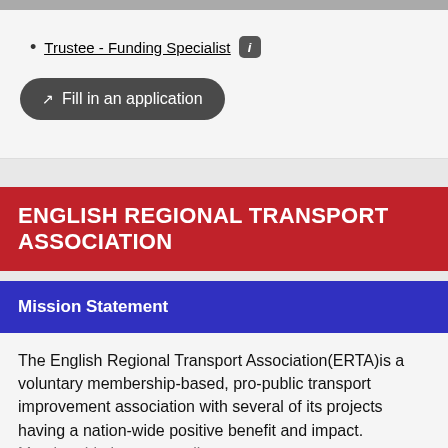Trustee - Funding Specialist
Fill in an application
ENGLISH REGIONAL TRANSPORT ASSOCIATION
Mission Statement
The English Regional Transport Association(ERTA)is a voluntary membership-based, pro-public transport improvement association with several of its projects having a nation-wide positive benefit and impact. Membership is open to all.